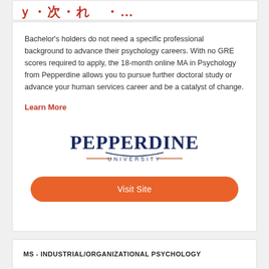[Figure (logo): Partial top card with red stylized text, cut off at top of page]
Bachelor's holders do not need a specific professional background to advance their psychology careers. With no GRE scores required to apply, the 18-month online MA in Psychology from Pepperdine allows you to pursue further doctoral study or advance your human services career and be a catalyst of change.
Learn More
[Figure (logo): Pepperdine University logo with navy blue wordmark PEPPERDINE and UNIVERSITY in orange-flanked lettering with swoosh accent]
Visit Site
MS - INDUSTRIAL/ORGANIZATIONAL PSYCHOLOGY